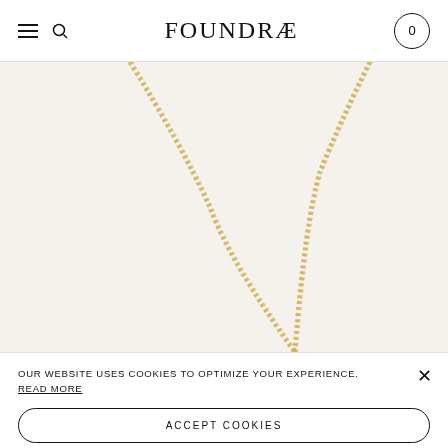FOUNDRÆ
[Figure (photo): Close-up product photo of a gold chain necklace against a white/light background. Two strands of the gold chain are visible, one on the left and one on the right, forming a V shape.]
OUR WEBSITE USES COOKIES TO OPTIMIZE YOUR EXPERIENCE. READ MORE
ACCEPT COOKIES